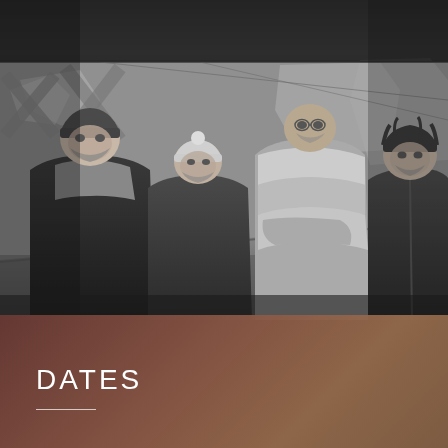[Figure (photo): Black and white photograph of four men standing in what appears to be an underpass or tunnel with graffiti on the walls behind them. The man on the far left wears a dark sherpa-lined jacket and beanie hat. Second from left wears a knit pompom beanie and dark jacket. Third from left wears a large fur coat with arms crossed. The man on the far right has messy dark hair and wears a dark zip-up jacket.]
DATES